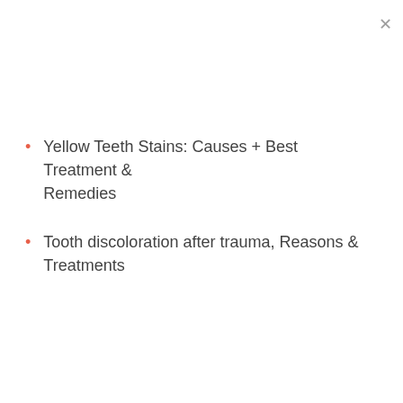Yellow Teeth Stains: Causes + Best Treatment & Remedies
Tooth discoloration after trauma, Reasons & Treatments